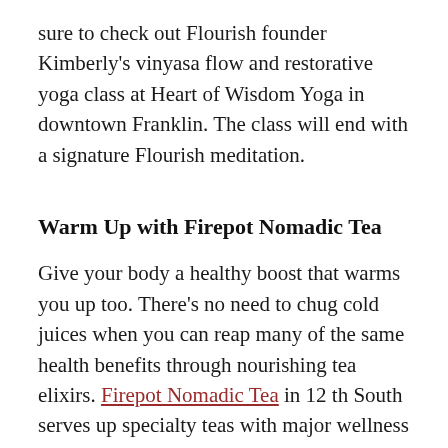sure to check out Flourish founder Kimberly's vinyasa flow and restorative yoga class at Heart of Wisdom Yoga in downtown Franklin. The class will end with a signature Flourish meditation.
Warm Up with Firepot Nomadic Tea
Give your body a healthy boost that warms you up too. There's no need to chug cold juices when you can reap many of the same health benefits through nourishing tea elixirs. Firepot Nomadic Tea in 12 th South serves up specialty teas with major wellness perks. Try the Immunity Tonic, made with hibiscus, elderberry, lemon, ginger, and honey. Other nutritional options are the ADD-ONS, like CBD oil, green adaptogen, chaga, reishi, and ashwaganda.